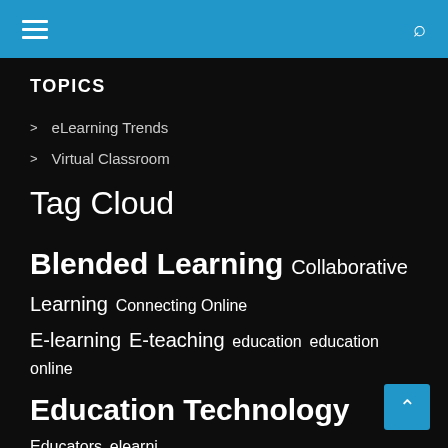≡  [menu icon]  [search icon]
TOPICS
> eLearning Trends
> Virtual Classroom
Tag Cloud
Blended Learning  Collaborative Learning  Connecting Online  E-learning  E-teaching  education  education online  Education Technology  Educators  elearni  ELT  ELT MOOC  English Language Teachers  ESL  Featured Teachers